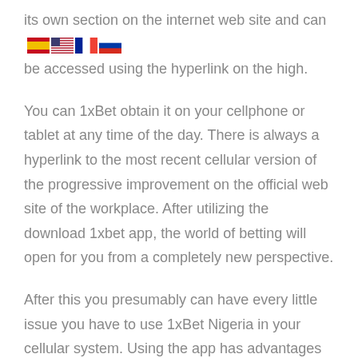its own section on the internet web site and can be accessed using the hyperlink on the high.
You can 1xBet obtain it on your cellphone or tablet at any time of the day. There is always a hyperlink to the most recent cellular version of the progressive improvement on the official web site of the workplace. After utilizing the download 1xbet app, the world of betting will open for you from a completely new perspective.
After this you presumably can have every little issue you have to use 1xBet Nigeria in your cellular system. Using the app has advantages regarding connection and loading velocity together with battery life and platform utilization. 1xBet Nigeria